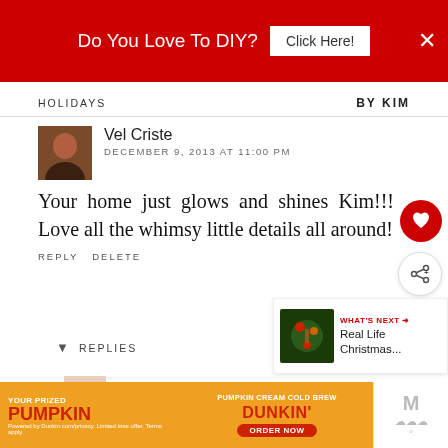[Figure (screenshot): Red banner advertisement: 'Do You Love To DIY? Click Here!' with close X button]
HOLIDAYS | BY KIM
Vel Criste
DECEMBER 9, 2013 AT 11:00 PM
Your home just glows and shines Kim!!! Love all the whimsy little details all around!
REPLY DELETE
▼ REPLIES
WHAT'S NEXT → Real Life Christmas...
Kim
[Figure (screenshot): Bottom banner advertisement: YOUR PRIZED PUMPKIN - Dunkin' Pumpkin Cream Cold Brew - ORDER NOW]